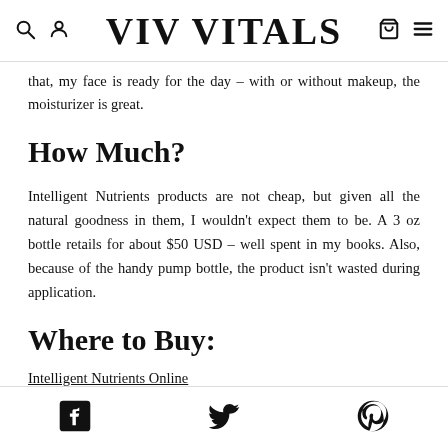VIV VITALS
that, my face is ready for the day – with or without makeup, the moisturizer is great.
How Much?
Intelligent Nutrients products are not cheap, but given all the natural goodness in them, I wouldn't expect them to be. A 3 oz bottle retails for about $50 USD – well spent in my books. Also, because of the handy pump bottle, the product isn't wasted during application.
Where to Buy:
Intelligent Nutrients Online
Facebook Twitter Pinterest